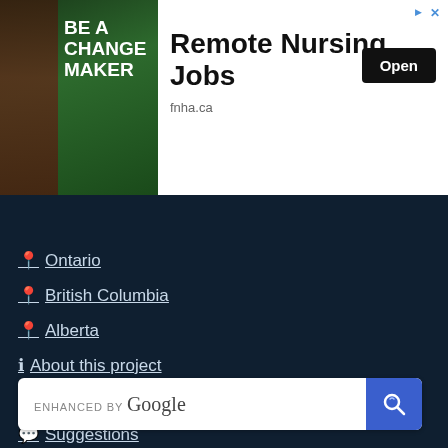[Figure (screenshot): Advertisement banner for Remote Nursing Jobs at fnha.ca. Left side shows a person with 'BE A CHANGE MAKER' text on green background. Right side shows 'Remote Nursing Jobs' headline with 'Open' button and 'fnha.ca' domain.]
Ontario
British Columbia
Alberta
About this project
Report Bug
Suggestions
Terms & Conditions | Privacy Policy
[Figure (screenshot): Enhanced by Google search bar with a search icon button on the right.]